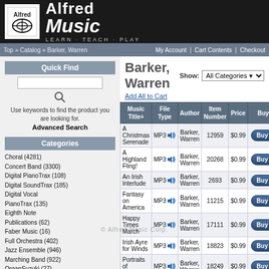[Figure (logo): Alfred Music logo with Learn Teach Play tagline on dark background]
Top » Catalog » Barker, Warren    My Account | Cart Contents | Checkout
Quick Find
Use keywords to find the product you are looking for. Advanced Search
Categories
Choral (4281)
Concert Band (3300)
Digital PianoTrax (108)
Digital SoundTrax (185)
Digital Vocal PianoTrax (135)
Eighth Note Publications (62)
Faber Music (16)
Full Orchestra (402)
Jazz Ensemble (946)
Marching Band (922)
OrganSuzuki (27)
Percussion (69)
Piano (1666)
Play Along Ensembles (28)
Playlists (249)
Rental Library Audio (5)
String Explorers (1)
Barker, Warren
Add All to Cart
| Music Title+ | File Type | Author | Item Number | Price | Buy Now |
| --- | --- | --- | --- | --- | --- |
| A Christmas Serenade | MP3 | Barker, Warren | 12959 | $0.99 | Buy Now! |
| A Highland Fling! | MP3 | Barker, Warren | 20268 | $0.99 | Buy Now! |
| An Irish Interlude | MP3 | Barker, Warren | 2693 | $0.99 | Buy Now! |
| Fantasy on America | MP3 | Barker, Warren | 11215 | $0.99 | Buy Now! |
| Happy Times March | MP3 | Barker, Warren | 17111 | $0.99 | Buy Now! |
| Irish Ayre for Winds | MP3 | Barker, Warren | 18823 | $0.99 | Buy Now! |
| Portraits of Christmas | MP3 | Barker, Warren | 18249 | $0.99 | Buy Now! |
| Victory Spirits March | MP3 | Barker, Warren | 19536 | $0.99 | Buy Now! |
| Blue ... | MP3 | Barker, ... | ch9607 | $0.99 | Not Available |